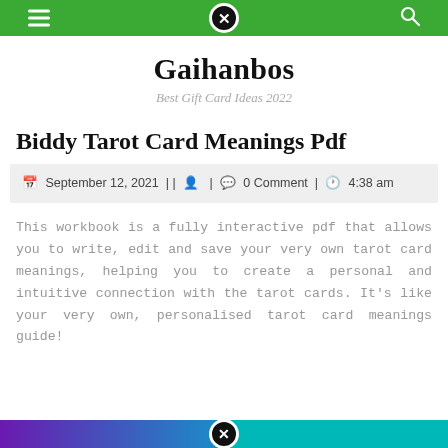Gaihanbos — Best Gift Card Ideas 2022
Gaihanbos
Best Gift Card Ideas 2022
Biddy Tarot Card Meanings Pdf
September 12, 2021 | | | 0 Comment | 4:38 am
This workbook is a fully interactive pdf that allows you to write, edit and save your very own tarot card meanings, helping you to create a personal and intuitive connection with the tarot cards. It's like your very own, personalised tarot card meanings guide!
[Figure (other): Gradient bar at the bottom showing purple to teal gradient with a close/X button circle overlay]